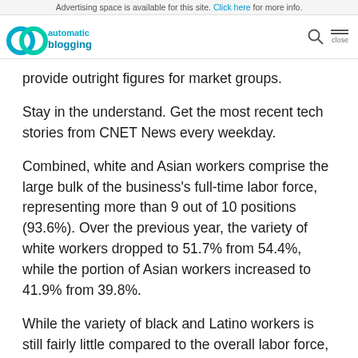Advertising space is available for this site. Click here for more info.
[Figure (logo): Automatic Blogging logo with two overlapping teal/blue circular shapes and text 'automatic blogging']
provide outright figures for market groups.
Stay in the understand. Get the most recent tech stories from CNET News every weekday.
Combined, white and Asian workers comprise the large bulk of the business’s full-time labor force, representing more than 9 out of 10 positions (93.6%). Over the previous year, the variety of white workers dropped to 51.7% from 54.4%, while the portion of Asian workers increased to 41.9% from 39.8%.
While the variety of black and Latino workers is still fairly little compared to the overall labor force, Google